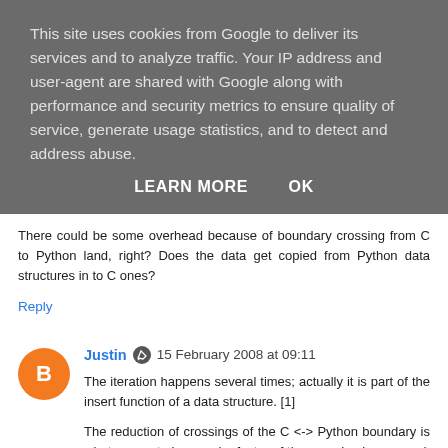This site uses cookies from Google to deliver its services and to analyze traffic. Your IP address and user-agent are shared with Google along with performance and security metrics to ensure quality of service, generate usage statistics, and to detect and address abuse.
LEARN MORE   OK
elements?
There could be some overhead because of boundary crossing from C to Python land, right? Does the data get copied from Python data structures in to C ones?
Reply
Justin  15 February 2008 at 09:11
The iteration happens several times; actually it is part of the insert function of a data structure. [1]
The reduction of crossings of the C <-> Python boundary is what seems to be a major factor of the speedup here… and